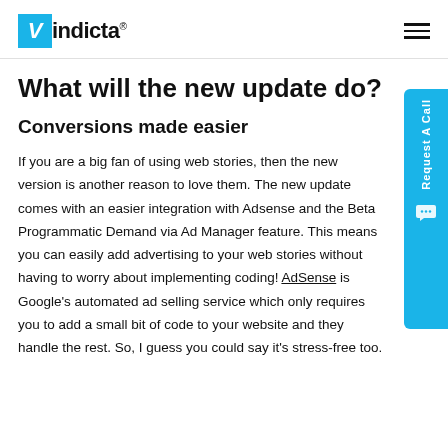Vindicta®
What will the new update do?
Conversions made easier
If you are a big fan of using web stories, then the new version is another reason to love them. The new update comes with an easier integration with Adsense and the Beta Programmatic Demand via Ad Manager feature. This means you can easily add advertising to your web stories without having to worry about implementing coding! AdSense is Google's automated ad selling service which only requires you to add a small bit of code to your website and they handle the rest. So, I guess you could say it's stress-free too.